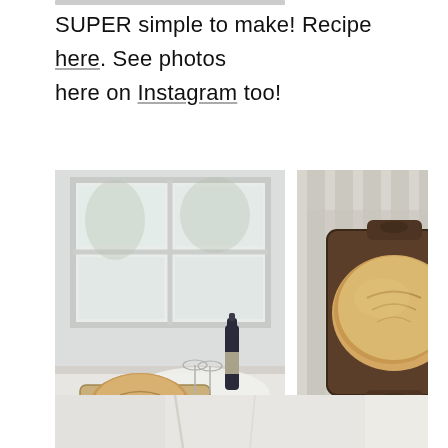SUPER simple to make! Recipe here. See photos here on Instagram too!
[Figure (photo): Photo of a round artisan bread loaf on a wooden cutting board, with a wine bottle and wine glasses, set on a white windowsill with natural light coming through a window]
[Figure (photo): Overhead photo of a round artisan bread loaf on a dark wooden cutting board, placed on a striped linen cloth]
[Figure (photo): Partial bottom photo showing a light interior scene, cropped]